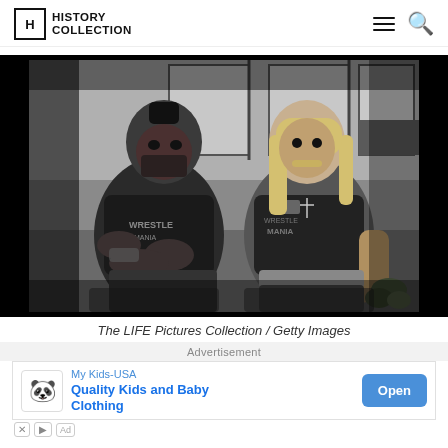HISTORY COLLECTION
[Figure (photo): Black and white photo of two wrestlers, Mr. T and Hulk Hogan, seated side by side wearing WrestleMania tank tops. Mr. T on the left with his hands together, Hulk Hogan on the right with long blond hair and a cross necklace.]
The LIFE Pictures Collection / Getty Images
Advertisement
My Kids-USA Quality Kids and Baby Clothing Open